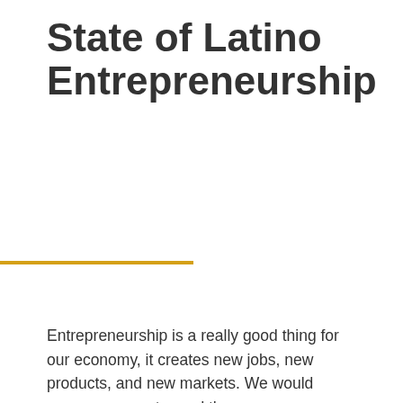State of Latino Entrepreneurship
[Figure (other): Gold/yellow horizontal rule decorative line]
Entrepreneurship is a really good thing for our economy, it creates new jobs, new products, and new markets. We would encourage you to read the